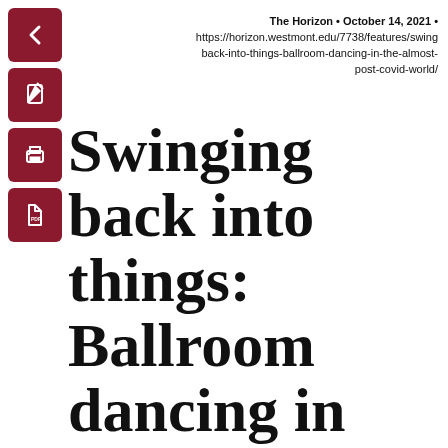[Figure (illustration): Four dark red/maroon rounded square icon buttons on the left sidebar: back arrow, edit/pencil, print, and PDF file icons]
The Horizon • October 14, 2021 • https://horizon.westmont.edu/7738/features/swingback-into-things-ballroom-dancing-in-the-almost-post-covid-world/
Swinging back into things: Ballroom dancing in the almost-post-COVID world